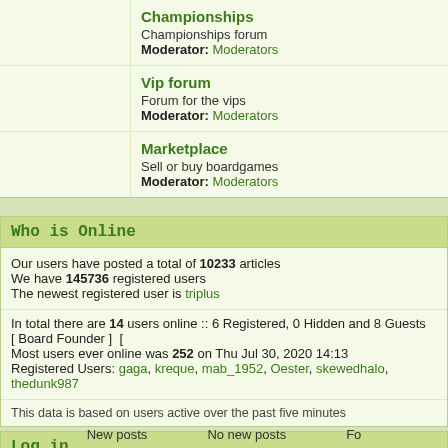Championships
Championships forum
Moderator: Moderators
Vip forum
Forum for the vips
Moderator: Moderators
Marketplace
Sell or buy boardgames
Moderator: Moderators
Who is Online
Our users have posted a total of 10233 articles
We have 145736 registered users
The newest registered user is triplus
In total there are 14 users online :: 6 Registered, 0 Hidden and 8 Guests   [ Board Founder ] [
Most users ever online was 252 on Thu Jul 30, 2020 14:13
Registered Users: gaga, kreque, mab_1952, Oester, skewedhalo, thedunk987
This data is based on users active over the past five minutes
Log in
Username:  Password:  Log me on a
New posts    No new posts    Fo